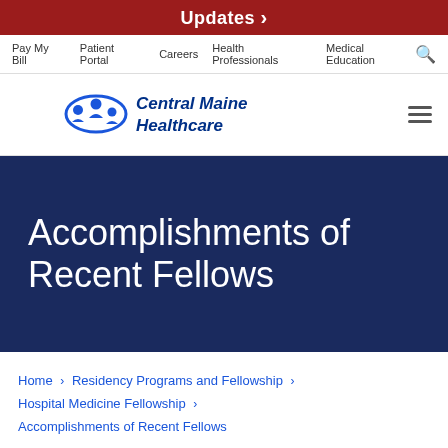Updates >
Pay My Bill | Patient Portal | Careers | Health Professionals | Medical Education
[Figure (logo): Central Maine Healthcare logo with blue figures and italic text]
Accomplishments of Recent Fellows
Home > Residency Programs and Fellowship > Hospital Medicine Fellowship > Accomplishments of Recent Fellows
Accomplishments of Recent Fellows